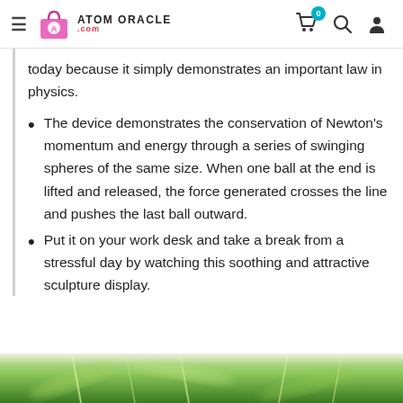ATOM ORACLE .com
today because it simply demonstrates an important law in physics.
The device demonstrates the conservation of Newton's momentum and energy through a series of swinging spheres of the same size. When one ball at the end is lifted and released, the force generated crosses the line and pushes the last ball outward.
Put it on your work desk and take a break from a stressful day by watching this soothing and attractive sculpture display.
[Figure (photo): Blurred green plant/leaf background image at the bottom of the page]